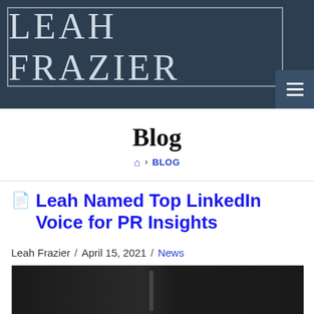LEAH FRAZIER
Blog
🏠 › BLOG
Leah Named Top LinkedIn Voice for PR Insights
Leah Frazier / April 15, 2021 / News
[Figure (photo): Dark background image, partial view of article header photo]